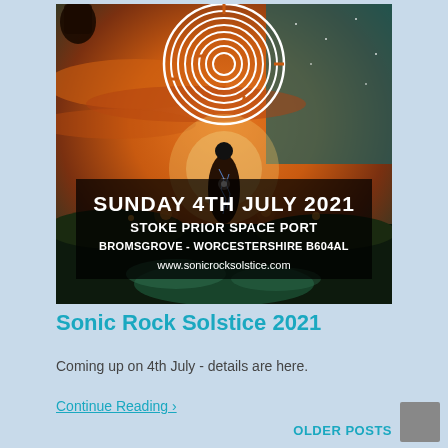[Figure (illustration): Festival poster for Sonic Rock Solstice 2021. Dark psychedelic artwork showing a silhouetted figure standing under a large circular labyrinth/maze pattern in the sky, against a dramatic fiery orange and teal sky. Text overlay reads: SUNDAY 4TH JULY 2021 / STOKE PRIOR SPACE PORT / BROMSGROVE - WORCESTERSHIRE B604AL / www.sonicrocksolstice.com]
Sonic Rock Solstice 2021
Coming up on 4th July - details are here.
Continue Reading ›
OLDER POSTS